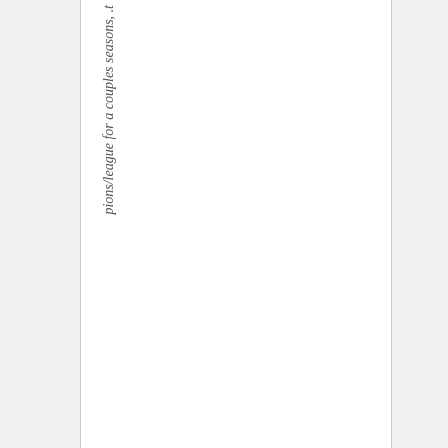pions/league for a couples seasons, .t